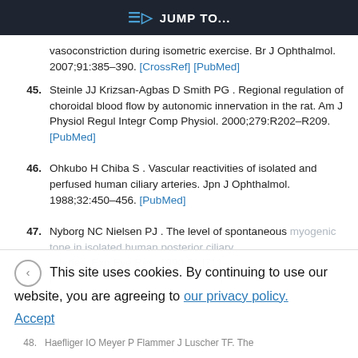JUMP TO...
vasoconstriction during isometric exercise. Br J Ophthalmol. 2007;91:385–390. [CrossRef] [PubMed]
45. Steinle JJ Krizsan-Agbas D Smith PG . Regional regulation of choroidal blood flow by autonomic innervation in the rat. Am J Physiol Regul Integr Comp Physiol. 2000;279:R202–R209. [PubMed]
46. Ohkubo H Chiba S . Vascular reactivities of isolated and perfused human ciliary arteries. Jpn J Ophthalmol. 1988;32:450–456. [PubMed]
47. Nyborg NC Nielsen PJ . The level of spontaneous myogenic tone in isolated human posterior ciliary arteries. Exp Eye Res. 1990;50:711–
This site uses cookies. By continuing to use our website, you are agreeing to our privacy policy. Accept
48. Haefliger IO Meyer P Flammer J Luscher TF. The